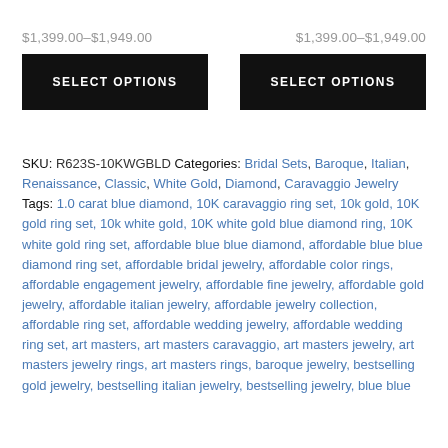$1,399.00–$1,949.00   $1,399.00–$1,949.00
SELECT OPTIONS   SELECT OPTIONS
SKU: R623S-10KWGBLD Categories: Bridal Sets, Baroque, Italian, Renaissance, Classic, White Gold, Diamond, Caravaggio Jewelry Tags: 1.0 carat blue diamond, 10K caravaggio ring set, 10k gold, 10K gold ring set, 10k white gold, 10K white gold blue diamond ring, 10K white gold ring set, affordable blue blue diamond, affordable blue blue diamond ring set, affordable bridal jewelry, affordable color rings, affordable engagement jewelry, affordable fine jewelry, affordable gold jewelry, affordable italian jewelry, affordable jewelry collection, affordable ring set, affordable wedding jewelry, affordable wedding ring set, art masters, art masters caravaggio, art masters jewelry, art masters jewelry rings, art masters rings, baroque jewelry, bestselling gold jewelry, bestselling italian jewelry, bestselling jewelry, blue blue